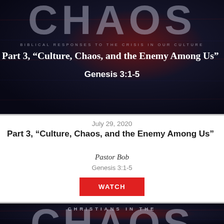[Figure (photo): Dark textured background with large semi-transparent 'CHAOS' text, subtitle 'BIBLICAL RESPONSES TO THE CRISIS IN OUR CULTURE', overlay title 'Part 3, "Culture, Chaos, and the Enemy Among Us"', and 'Genesis 3:1-5']
July 29, 2020
Part 3, “Culture, Chaos, and the Enemy Among Us”
Pastor Bob
Genesis 3:1-5
WATCH
[Figure (photo): Dark textured background with 'CHRISTIANS IN THE' text above large semi-transparent 'CHAOS' lettering]